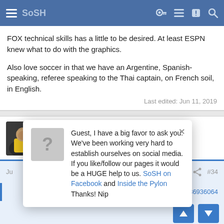SoSH
FOX technical skills has a little to be desired. At least ESPN knew what to do with the graphics.

Also love soccer in that we have an Argentine, Spanish-speaking, referee speaking to the Thai captain, on French soil, in English.
Last edited: Jun 11, 2019
Ale Xander
killed off Vin Scully  SoSH Member
Guest, I have a big favor to ask you. We've been working very hard to establish ourselves on social media. If you like/follow our pages it would be a HUGE help to us. SoSH on Facebook and Inside the Pylon Thanks! Nip
#34
3755886936064